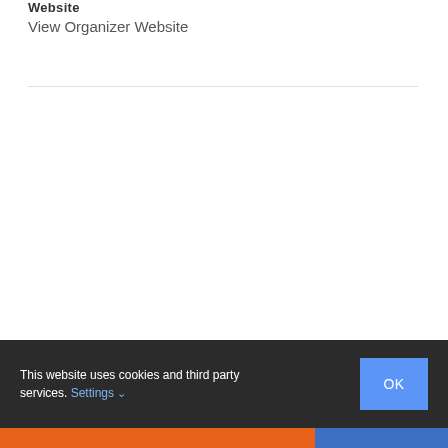Website
View Organizer Website
This website uses cookies and third party services. Settings ˅
OK